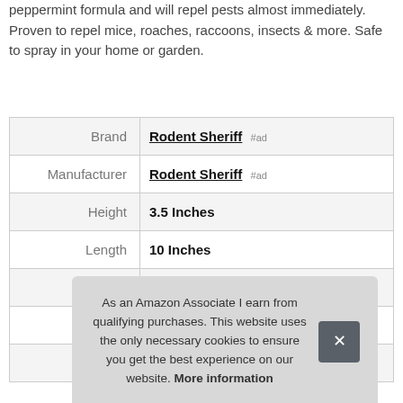peppermint formula and will repel pests almost immediately. Proven to repel mice, roaches, raccoons, insects & more. Safe to spray in your home or garden.
| Attribute | Value |
| --- | --- |
| Brand | Rodent Sheriff #ad |
| Manufacturer | Rodent Sheriff #ad |
| Height | 3.5 Inches |
| Length | 10 Inches |
| Weight | 1.5 Pounds |
| Width | 4.25 Inches |
As an Amazon Associate I earn from qualifying purchases. This website uses the only necessary cookies to ensure you get the best experience on our website. More information